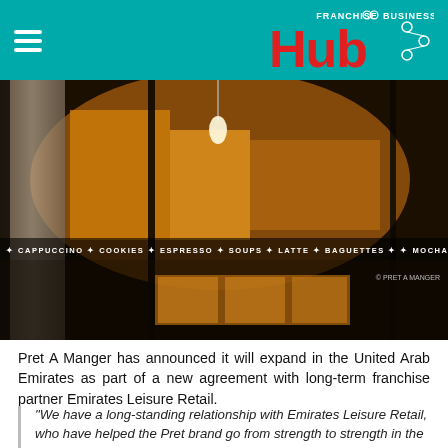FRANCHISE BUSINESS Hub
[Figure (photo): Interior of Pret A Manger restaurant showing warm amber lighting, stone pillar on left, hanging lamp, dark vertical poles, menu strip reading CAPPUCCINO * COOKIES * ESPRESSO * SOUPS * LATTE * BAGUETTES * * MOCHA, and copyright watermark © PRET A MANGER]
Pret A Manger has announced it will expand in the United Arab Emirates as part of a new agreement with long-term franchise partner Emirates Leisure Retail.
This marks another step in Pret's plan to bring its freshly made food and organic coffee to more people around the world.
“We have a long-standing relationship with Emirates Leisure Retail, who have helped the Pret brand go from strength to strength in the Middle East. This new partnership builds on the great work achieved to date and is a further vote of confidence in the Pret brand across